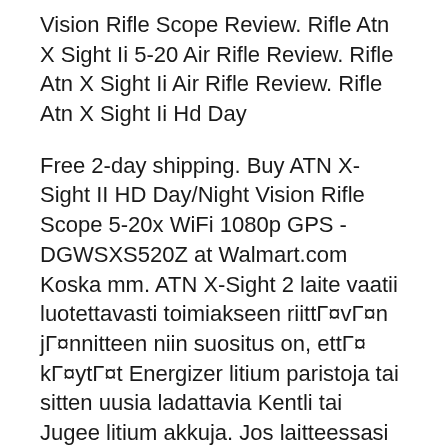Vision Rifle Scope Review. Rifle Atn X Sight Ii 5-20 Air Rifle Review. Rifle Atn X Sight Ii Air Rifle Review. Rifle Atn X Sight Ii Hd Day
Free 2-day shipping. Buy ATN X-Sight II HD Day/Night Vision Rifle Scope 5-20x WiFi 1080p GPS - DGWSXS520Z at Walmart.com Koska mm. ATN X-Sight 2 laite vaatii luotettavasti toimiakseen riittГ¤vГ¤n jГ¤nnitteen niin suositus on, ettГ¤ kГ¤ytГ¤t Energizer litium paristoja tai sitten uusia ladattavia Kentli tai Jugee litium akkuja. Jos laitteessasi on toiminnallisia ongelmia niin varmista sen toimivuus ym. virtalГ¤hteillГ¤.
We compared ATN X-Sight II HD 5-20x Smart Day/Night Rifle Scope w/1080p Video, WiFi, GPS